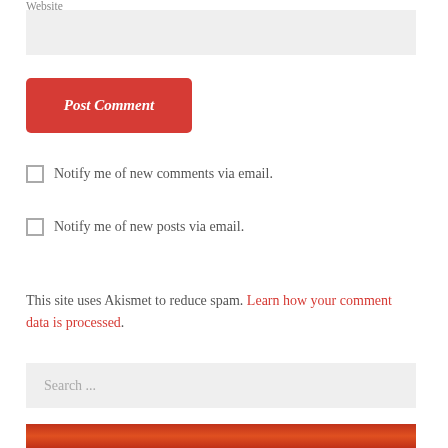Website
[Figure (screenshot): Website input field (empty, gray background)]
Post Comment
Notify me of new comments via email.
Notify me of new posts via email.
This site uses Akismet to reduce spam. Learn how your comment data is processed.
Search ...
[Figure (photo): Partial image at bottom with reddish-orange tones]